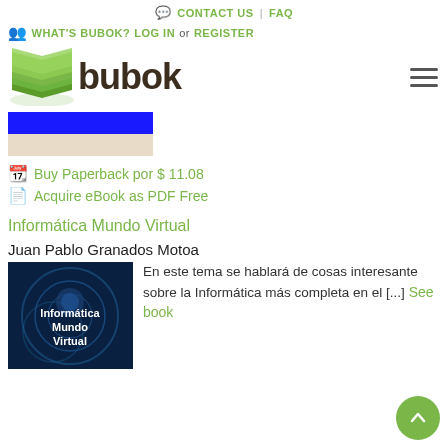CONTACT US | FAQ
WHAT'S BUBOK? LOG IN or REGISTER
[Figure (logo): Bubok logo with green book stack icon and dark brown 'bubok' text]
[Figure (other): Blue and beige horizontal bar thumbnail]
Buy Paperback por $ 11.08
Acquire eBook as PDF Free
Informática Mundo Virtual
Juan Pablo Granados Motoa
[Figure (illustration): Book cover for 'Informática Mundo Virtual' with blue digital/tech background and white text]
En este tema se hablará de cosas interesante sobre la Informática más completa en el [...] See book